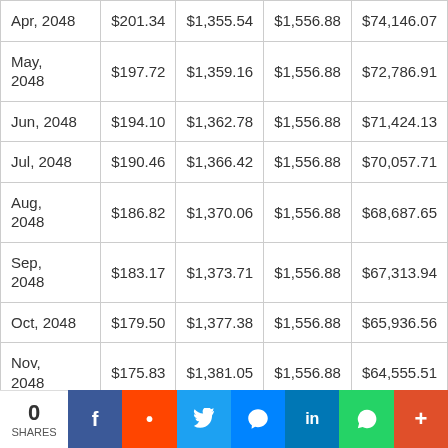| Date | Interest | Principal | Payment | Balance |
| --- | --- | --- | --- | --- |
| Apr, 2048 | $201.34 | $1,355.54 | $1,556.88 | $74,146.07 |
| May, 2048 | $197.72 | $1,359.16 | $1,556.88 | $72,786.91 |
| Jun, 2048 | $194.10 | $1,362.78 | $1,556.88 | $71,424.13 |
| Jul, 2048 | $190.46 | $1,366.42 | $1,556.88 | $70,057.71 |
| Aug, 2048 | $186.82 | $1,370.06 | $1,556.88 | $68,687.65 |
| Sep, 2048 | $183.17 | $1,373.71 | $1,556.88 | $67,313.94 |
| Oct, 2048 | $179.50 | $1,377.38 | $1,556.88 | $65,936.56 |
| Nov, 2048 | $175.83 | $1,381.05 | $1,556.88 | $64,555.51 |
| Dec, ... | $172.15 | $1,384.73 | $1,556.88 | $63,170.78 |
0 SHARES — Social sharing bar: Facebook, Reddit, Twitter, Messenger, LinkedIn, WhatsApp, More